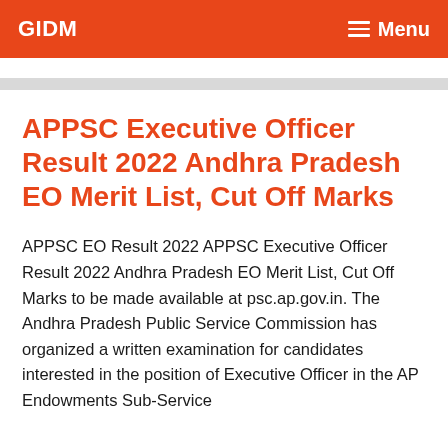GIDM  Menu
APPSC Executive Officer Result 2022 Andhra Pradesh EO Merit List, Cut Off Marks
APPSC EO Result 2022 APPSC Executive Officer Result 2022 Andhra Pradesh EO Merit List, Cut Off Marks to be made available at psc.ap.gov.in. The Andhra Pradesh Public Service Commission has organized a written examination for candidates interested in the position of Executive Officer in the AP Endowments Sub-Service